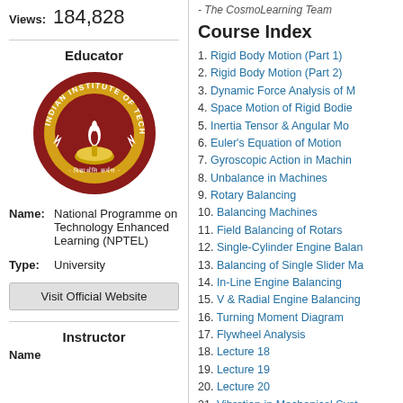Views: 184,828
Educator
[Figure (logo): Indian Institute of Technology Madras circular logo with lamp on gold background]
Name: National Programme on Technology Enhanced Learning (NPTEL)
Type: University
Visit Official Website
Instructor
Name
- The CosmoLearning Team
Course Index
1. Rigid Body Motion (Part 1)
2. Rigid Body Motion (Part 2)
3. Dynamic Force Analysis of M
4. Space Motion of Rigid Bodie
5. Inertia Tensor & Angular Mo
6. Euler's Equation of Motion
7. Gyroscopic Action in Machin
8. Unbalance in Machines
9. Rotary Balancing
10. Balancing Machines
11. Field Balancing of Rotars
12. Single-Cylinder Engine Balan
13. Balancing of Single Slider Ma
14. In-Line Engine Balancing
15. V & Radial Engine Balancing
16. Turning Moment Diagram
17. Flywheel Analysis
18. Lecture 18
19. Lecture 19
20. Lecture 20
21. Vibration in Mechanical Syst
22. Free Vibration of Single Deg
23. Energy Method for Solving S
24. Equivalent Inertia and Equiv